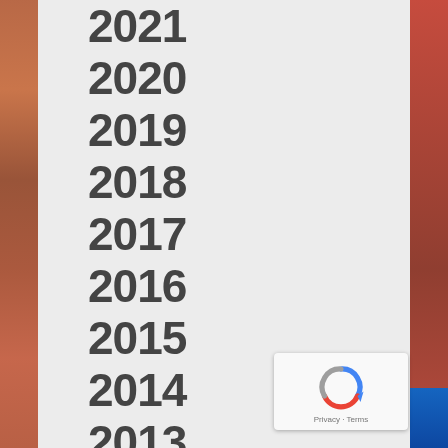2021
2020
2019
2018
2017
2016
2015
2014
2013
2012
2011
2010
[Figure (logo): reCAPTCHA badge with privacy and terms links]